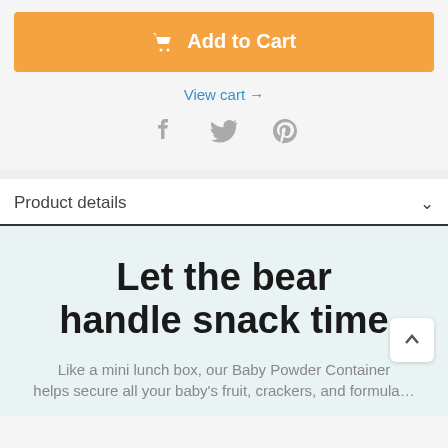[Figure (other): Orange 'Add to Cart' button with shopping cart icon]
View cart →
[Figure (other): Social media icons: Facebook, Twitter, Pinterest in gray]
Product details
Let the bear handle snack time
Like a mini lunch box, our Baby Powder Container helps secure all your baby's fruit, crackers, and formula…